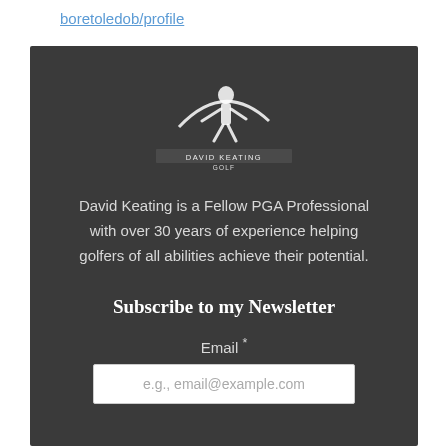boretoledob/profile
[Figure (logo): David Keating Golf logo — a white silhouette of a golfer swinging with a curved arc, and text 'DAVID KEATING GOLF' below on a dark background]
David Keating is a Fellow PGA Professional with over 30 years of experience helping golfers of all abilities achieve their potential.
Subscribe to my Newsletter
Email *
e.g., email@example.com